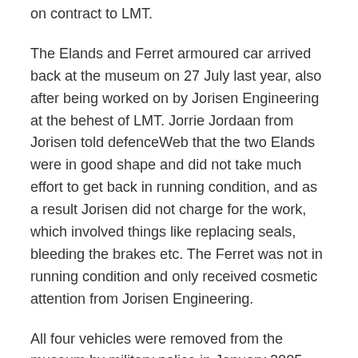on contract to LMT.
The Elands and Ferret armoured car arrived back at the museum on 27 July last year, also after being worked on by Jorisen Engineering at the behest of LMT. Jorrie Jordaan from Jorisen told defenceWeb that the two Elands were in good shape and did not take much effort to get back in running condition, and as a result Jorisen did not charge for the work, which involved things like replacing seals, bleeding the brakes etc. The Ferret was not in running condition and only received cosmetic attention from Jorisen Engineering.
All four vehicles were removed from the museum by military police in January 2005, and the museum director and two curators were briefly arrested for the possession of suspected stolen military equipment. The confiscation